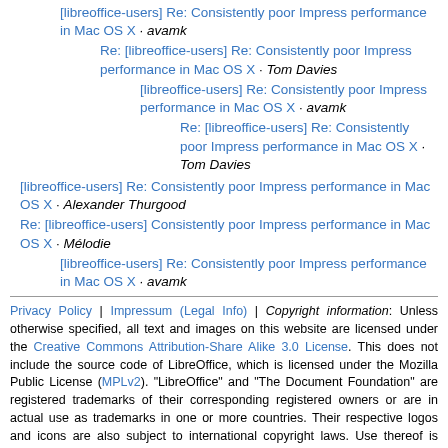[libreoffice-users] Re: Consistently poor Impress performance in Mac OS X · avamk
Re: [libreoffice-users] Re: Consistently poor Impress performance in Mac OS X · Tom Davies
[libreoffice-users] Re: Consistently poor Impress performance in Mac OS X · avamk
Re: [libreoffice-users] Re: Consistently poor Impress performance in Mac OS X · Tom Davies
[libreoffice-users] Re: Consistently poor Impress performance in Mac OS X · Alexander Thurgood
Re: [libreoffice-users] Consistently poor Impress performance in Mac OS X · Mélodie
[libreoffice-users] Re: Consistently poor Impress performance in Mac OS X · avamk
Privacy Policy | Impressum (Legal Info) | Copyright information: Unless otherwise specified, all text and images on this website are licensed under the Creative Commons Attribution-Share Alike 3.0 License. This does not include the source code of LibreOffice, which is licensed under the Mozilla Public License (MPLv2). "LibreOffice" and "The Document Foundation" are registered trademarks of their corresponding registered owners or are in actual use as trademarks in one or more countries. Their respective logos and icons are also subject to international copyright laws. Use thereof is explained in our trademark policy.